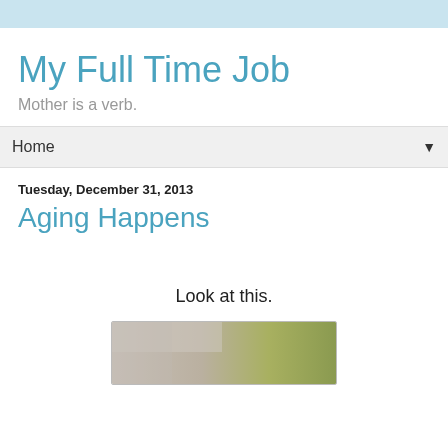My Full Time Job
Mother is a verb.
Home
Tuesday, December 31, 2013
Aging Happens
Look at this.
[Figure (photo): Partial photo visible at bottom of page, appears to show a surface with tan/brown and green tones]